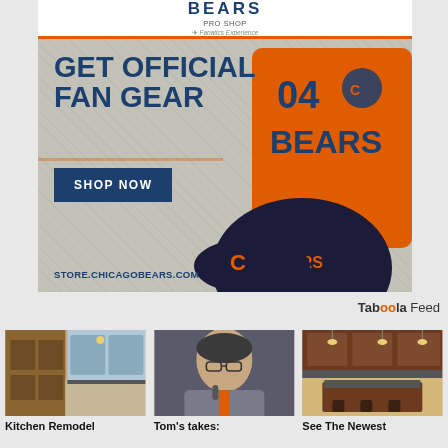[Figure (photo): Chicago Bears Pro Shop advertisement. Features orange Bears jersey and navy hat merchandise. Text: GET OFFICIAL FAN GEAR, SHOP NOW button, STORE.CHICAGOBEARS.COM. A Fanatics Experience branding.]
Taboola Feed
[Figure (photo): Kitchen remodel photo showing wood cabinets, granite countertops, stainless appliances]
Kitchen Remodel
[Figure (photo): Man in grey and orange Bears coaching jacket at microphone, bald, glasses]
Tom's takes:
[Figure (photo): Luxurious kitchen with dark wood cabinets, granite counters, pendant lights, island]
See The Newest